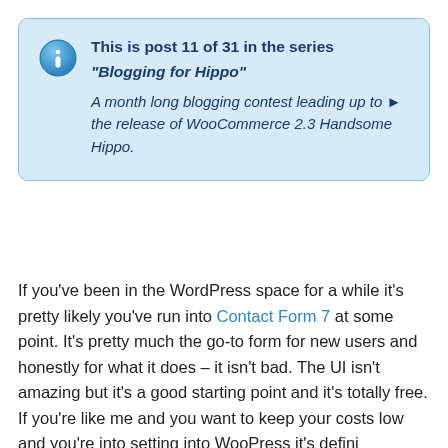[Figure (infographic): Info box with blue background and border, containing an info icon (blue circle with lowercase 'i'), bold title 'This is post 11 of 31 in the series', italic bold series name '"Blogging for Hippo"', and italic description 'A month long blogging contest leading up to the release of WooCommerce 2.3 Handsome Hippo.']
If you've been in the WordPress space for a while it's pretty likely you've run into Contact Form 7 at some point. It's pretty much the go-to form for new users and honestly for what it does – it isn't bad. The UI isn't amazing but it's a good starting point and it's totally free. If you're like me and you want to keep your costs low and you're into setting into WooPress it's definitely